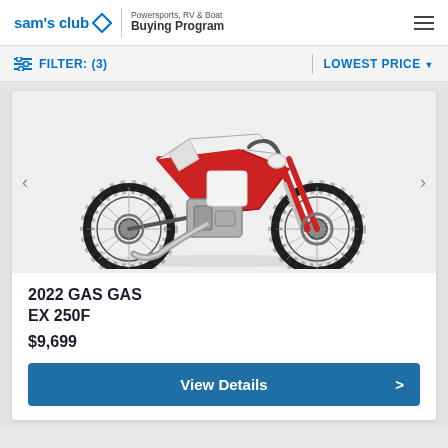sam's club ◇ | Powersports, RV & Boat Buying Program
FILTER: (3) | LOWEST PRICE
[Figure (photo): 2022 GAS GAS EX 250F dirt bike / motocross motorcycle, white and red, shown in profile view with knobby tires]
2022 GAS GAS EX 250F
$9,699
View Details >